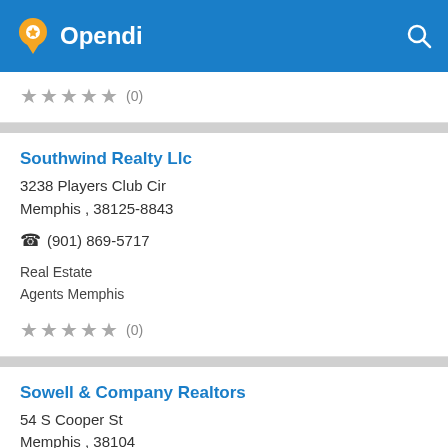Opendi
★★★★★ (0)
Southwind Realty Llc
3238 Players Club Cir
Memphis , 38125-8843
(901) 869-5717
Real Estate
Agents Memphis
★★★★★ (0)
Sowell & Company Realtors
54 S Cooper St
Memphis , 38104
Real Estate
Agents Memphis